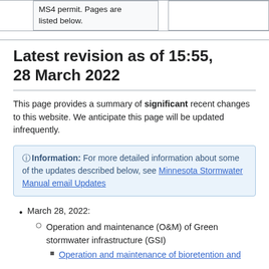| MS4 permit. Pages are listed below. |  |  |
Latest revision as of 15:55, 28 March 2022
This page provides a summary of significant recent changes to this website. We anticipate this page will be updated infrequently.
Information: For more detailed information about some of the updates described below, see Minnesota Stormwater Manual email Updates
March 28, 2022:
Operation and maintenance (O&M) of Green stormwater infrastructure (GSI)
Operation and maintenance of bioretention and